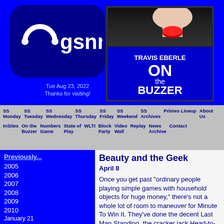[Figure (logo): GSNN logo on dark blue rounded rectangle background with circular arc icon]
Tue Aug 23, 2022
Thanks for visiting!
[Figure (screenshot): Travis Eberle On the Buzzer title card with hand pressing red buzzer button, dark background]
SS Monday  SS Tuesday  SS Wednesday  SS Thursday  SS Friday  SS Weekend  SS Archives  Primes Lineup  About Us  InSites  On the Buzzer  Numbers Game  State of Play  WLTI  Block Party  Video Wall  Replay  News Archive  Contact
Previously...
2005
2006
2007
2008
2009
2010
January 21
February 11
March 11
Opinions expressed in On the Buzzer do not necessarily reflect those held by Game Show Newsnet.
Beauty and the Geek
April 8
Once you get past "ordinary people playing simple games with household objects for huge money," there's not a whole lot of room to maneuver for Minute To Win It. They've done the decent Last Man Standing, the cracker jack Head-to-Head Showdown, and the terrible Million Dollar Mission. Many recent episodes have paired complete strangers together, with